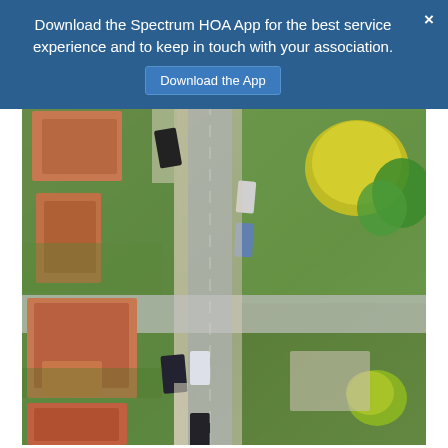Download the Spectrum HOA App for the best service experience and to keep in touch with your association.
[Figure (photo): Aerial drone photograph of a residential neighborhood showing houses, green lawns, a street intersection, driveways, and parked/moving cars viewed from directly above.]